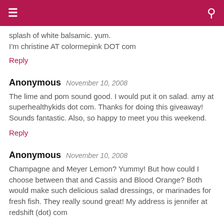splash of white balsamic. yum.
I'm christine AT colormepink DOT com
Reply
Anonymous  November 10, 2008
The lime and pom sound good. I would put it on salad. amy at superhealthykids dot com. Thanks for doing this giveaway! Sounds fantastic. Also, so happy to meet you this weekend.
Reply
Anonymous  November 10, 2008
Champagne and Meyer Lemon? Yummy! But how could I choose between that and Cassis and Blood Orange? Both would make such delicious salad dressings, or marinades for fresh fish. They really sound great! My address is jennifer at redshift (dot) com